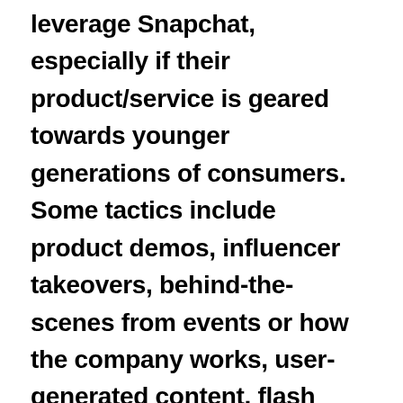leverage Snapchat, especially if their product/service is geared towards younger generations of consumers. Some tactics include product demos, influencer takeovers, behind-the-scenes from events or how the company works, user-generated content, flash sales and giveaways. Snapchat is not suitable for all businesses, but you should explore its utility comprehensively to determine if it has a part in your social media marketing mix.

We hope that you will take away useful information from this article to shape your